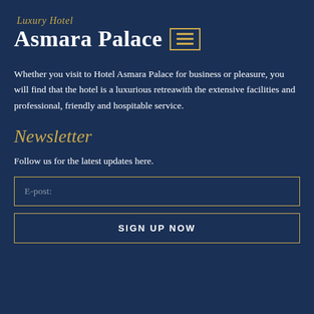Luxury Hotel Asmara Palace
Whether you visit to Hotel Asmara Palace for business or pleasure, you will find that the hotel is a luxurious retreawith the extensive facilities and professional, friendly and hospitable service.
Newsletter
Follow us for the latest updates here.
E-post:
SIGN UP NOW